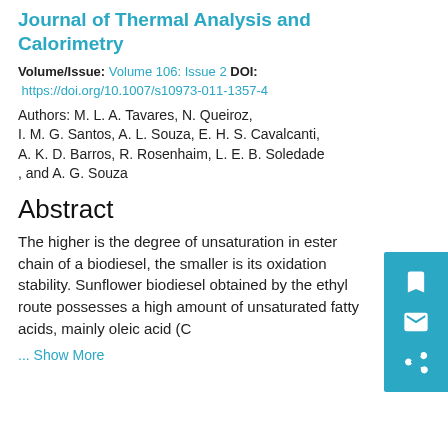Journal of Thermal Analysis and Calorimetry
Volume/Issue: Volume 106: Issue 2 DOI:
https://doi.org/10.1007/s10973-011-1357-4
Authors: M. L. A. Tavares, N. Queiroz, I. M. G. Santos, A. L. Souza, E. H. S. Cavalcanti, A. K. D. Barros, R. Rosenhaim, L. E. B. Soledade , and A. G. Souza
Abstract
The higher is the degree of unsaturation in ester chain of a biodiesel, the smaller is its oxidation stability. Sunflower biodiesel obtained by the ethyl route possesses a high amount of unsaturated fatty acids, mainly oleic acid (C
... Show More